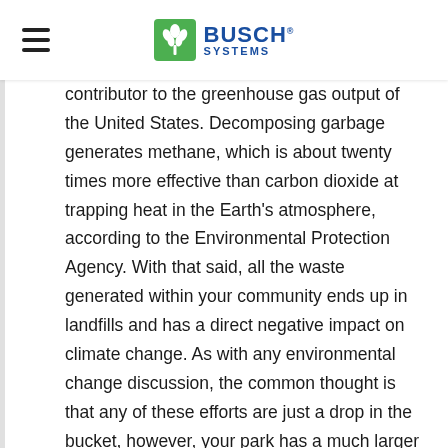Busch Systems
contributor to the greenhouse gas output of the United States. Decomposing garbage generates methane, which is about twenty times more effective than carbon dioxide at trapping heat in the Earth's atmosphere, according to the Environmental Protection Agency. With that said, all the waste generated within your community ends up in landfills and has a direct negative impact on climate change. As with any environmental change discussion, the common thought is that any of these efforts are just a drop in the bucket, however, your park has a much larger influence than you may think.
Making these types of program changes not only sets a standard for all other amusement